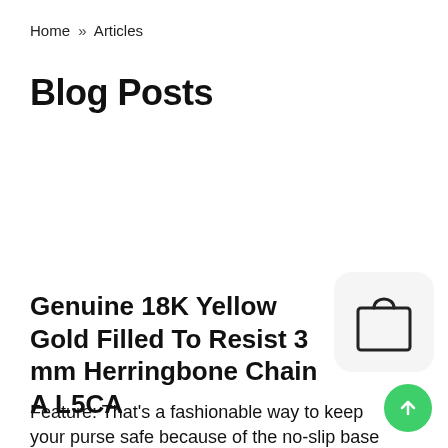Home » Articles
Blog Posts
Genuine 18K Yellow Gold Filled To Resist 3 mm Herringbone Chain A L5CA
[Figure (illustration): Shopping bag icon inside a rounded square box]
Feature: That's a fashionable way to keep your purse safe because of the no-slip base pad